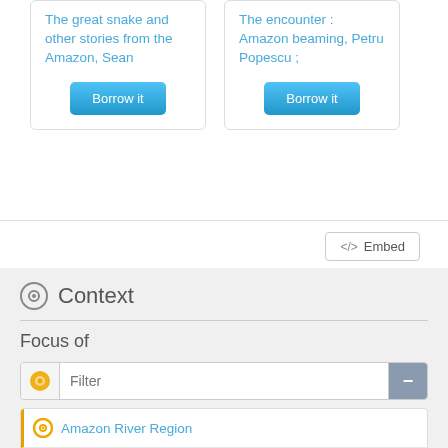The great snake and other stories from the Amazon, Sean
Borrow it
The encounter : Amazon beaming, Petru Popescu ;
Borrow it
</> Embed
Context
Focus of
Filter
Amazon River Region
Amazon River Region
Amazon River Region -- 21st century
Amazon River Region -- Biography